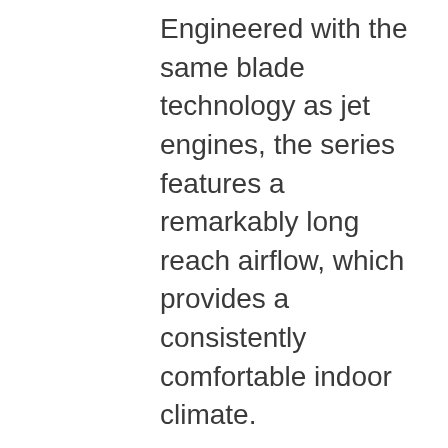Engineered with the same blade technology as jet engines, the series features a remarkably long reach airflow, which provides a consistently comfortable indoor climate.
With its performance-boosting 3D Auto, Hi-Power functions and Dry Mode your rooms are maintained at a comfortable temperature without humidity.
Recommended* by Choice, the slim linear design makes the Bronte series a winning option for indoor climate control that